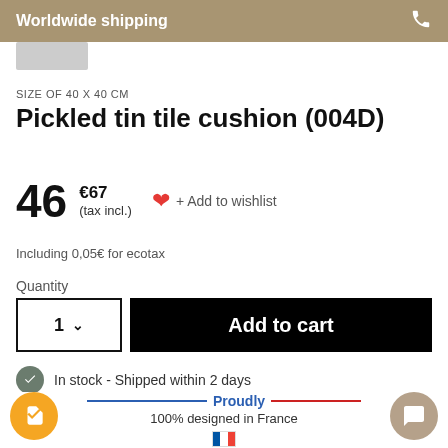Worldwide shipping
SIZE OF 40 X 40 CM
Pickled tin tile cushion (004D)
46 €67 (tax incl.) + Add to wishlist
Including 0,05€ for ecotax
Quantity
1  Add to cart
In stock - Shipped within 2 days
Excellent 4.8/5 Trustpilot
Proudly 100% designed in France